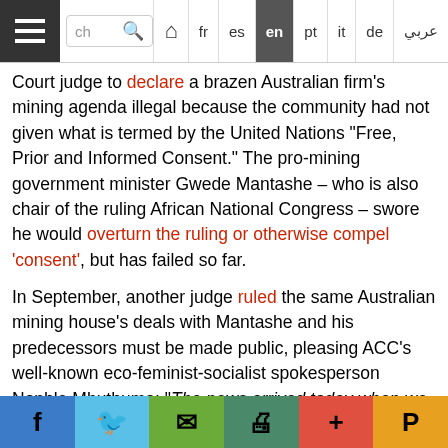Navigation bar with hamburger menu, search box, and language links: fr, es, en (active), pt, it, de, arabic
Court judge to declare a brazen Australian firm's mining agenda illegal because the community had not given what is termed by the United Nations “Free, Prior and Informed Consent.” The pro-mining government minister Gwede Mantashe – who is also chair of the ruling African National Congress – swore he would overturn the ruling or otherwise compel ‘consent’, but has failed so far.
In September, another judge ruled the same Australian mining house’s deals with Mantashe and his predecessors must be made public, pleasing ACC’s well-known eco-feminist-socialist spokesperson Nonhle Mbuthuma: “The news arrived today when we were holding a meeting discussing our community issues. It just changed our mood. We were so happy. Dealing with companies is so difficult for us. They only
Social sharing bar: Facebook, Twitter, Email, Print, Plus, Pocket